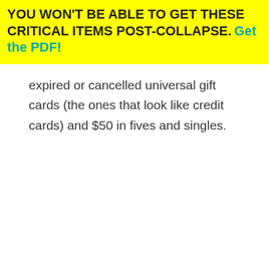YOU WON'T BE ABLE TO GET THESE CRITICAL ITEMS POST-COLLAPSE. Get the PDF!
expired or cancelled universal gift cards (the ones that look like credit cards) and $50 in fives and singles.